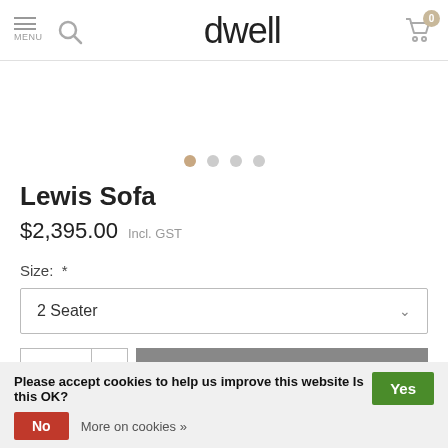dwell
[Figure (other): Product image carousel dots — 4 dots, first dot active (tan/beige color), rest grey]
Lewis Sofa
$2,395.00  Incl. GST
Size:  *
2 Seater
Please accept cookies to help us improve this website Is this OK?  Yes
No  More on cookies »